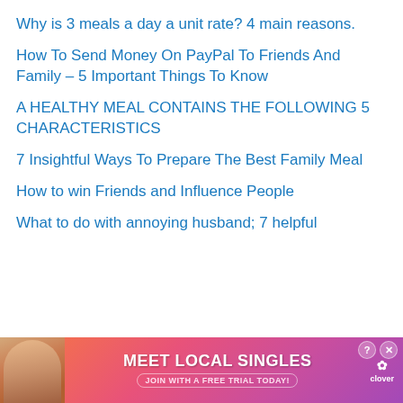Why is 3 meals a day a unit rate? 4 main reasons.
How To Send Money On PayPal To Friends And Family – 5 Important Things To Know
A HEALTHY MEAL CONTAINS THE FOLLOWING 5 CHARACTERISTICS
7 Insightful Ways To Prepare The Best Family Meal
How to win Friends and Influence People
What to do with annoying husband; 7 helpful tips
[Figure (screenshot): Advertisement banner: MEET LOCAL SINGLES – Join with a free trial today – Clover dating app, with photo of a woman]